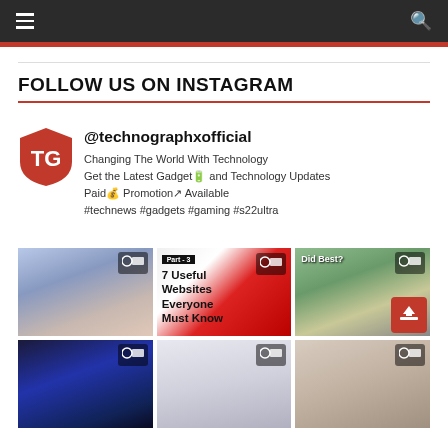Navigation bar with hamburger menu and search icon
FOLLOW US ON INSTAGRAM
@technographxofficial
Changing The World With Technology Get the Latest Gadget🔋 and Technology Updates
Paid💰 Promotion↗ Available
#technews #gadgets #gaming #s22ultra
[Figure (photo): Instagram profile grid showing 6 posts: a folding phone, 7 useful websites graphic, Google Pixel phones, mobile gaming, a helmet/speaker, and an upload icon thumbnail]
[Figure (logo): TechnoGraphx shield logo with TG letters in red and white]